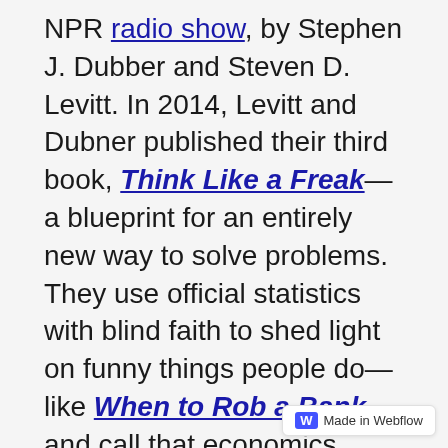NPR radio show, by Stephen J. Dubber and Steven D. Levitt. In 2014, Levitt and Dubner published their third book, Think Like a Freak—a blueprint for an entirely new way to solve problems. They use official statistics with blind faith to shed light on funny things people do—like When to Rob a Bank—and call that economics. Their legion of followers think that's economics, too.
Let them have it. It's not big picture analysis of an economy's actual workings and its resultant wealth. Their analyses trivialize what should matter, and what the public should know: how economies work,